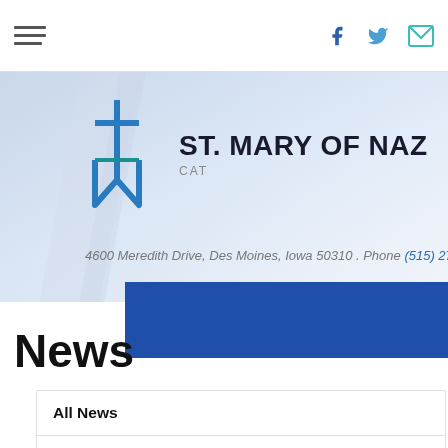Navigation bar with hamburger menu and social icons (Facebook, Twitter, Email)
[Figure (logo): St. Mary of Nazareth Catholic Church logo with cross and TM monogram]
4600 Meredith Drive, Des Moines, Iowa 50310 . Phone (515) 276-4042 .
News
All News
Archive